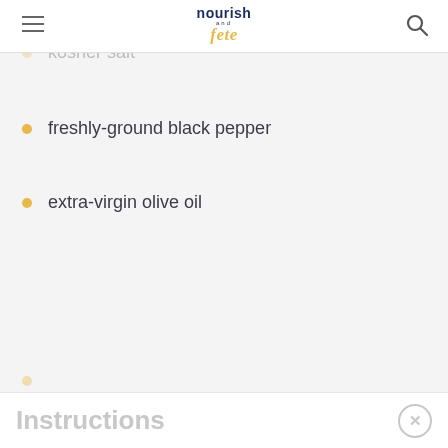nourish and fete
juice of 1 lemon
kosher salt
freshly-ground black pepper
extra-virgin olive oil
Instructions